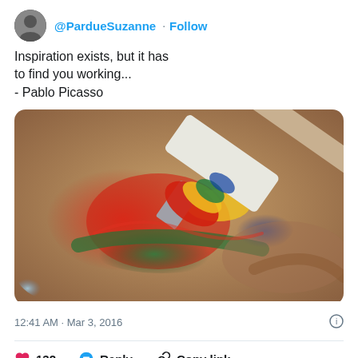[Figure (screenshot): Twitter/X profile avatar of @PardueSuzanne, circular photo of a woman]
@PardueSuzanne · Follow
Inspiration exists, but it has to find you working...
- Pablo Picasso
[Figure (photo): Close-up photo of a paint brush with colorful paint (red, green, yellow, blue) on a painting surface]
12:41 AM · Mar 3, 2016
132  Reply  Copy link
Read 2 replies